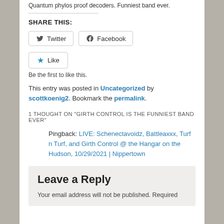Quantum phylos proof decoders. Funniest band ever.
SHARE THIS:
[Figure (other): Twitter and Facebook share buttons]
[Figure (other): Like button with blue star]
Be the first to like this.
This entry was posted in Uncategorized by scottkoenig2. Bookmark the permalink.
1 THOUGHT ON "GIRTH CONTROL IS THE FUNNIEST BAND EVER"
Pingback: LIVE: Schenectavoidz, Battleaxxx, Turf n Turf, and Girth Control @ the Hangar on the Hudson, 10/29/2021 | Nippertown
Leave a Reply
Your email address will not be published. Required